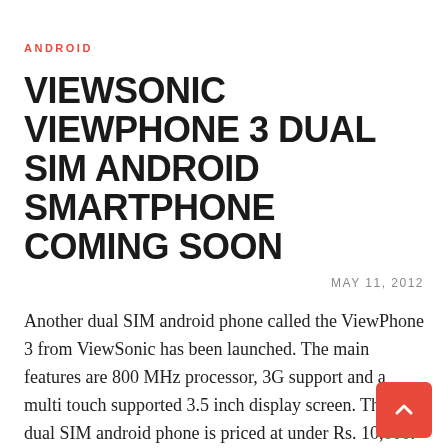ANDROID
VIEWSONIC VIEWPHONE 3 DUAL SIM ANDROID SMARTPHONE COMING SOON
MAY 11, 2012
Another dual SIM android phone called the ViewPhone 3 from ViewSonic has been launched. The main features are 800 MHz processor, 3G support and a multi touch supported 3.5 inch display screen. This dual SIM android phone is priced at under Rs. 10,000.
There are two things that are popular in India, dual handsets and Android and it is for this reason many